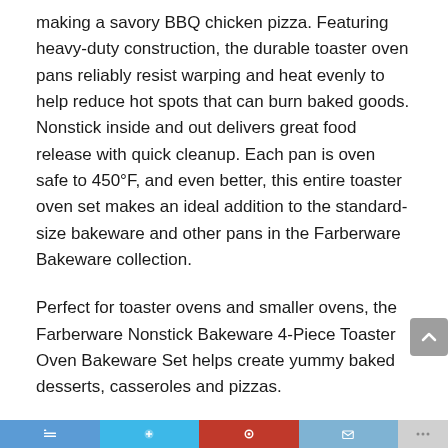making a savory BBQ chicken pizza. Featuring heavy-duty construction, the durable toaster oven pans reliably resist warping and heat evenly to help reduce hot spots that can burn baked goods. Nonstick inside and out delivers great food release with quick cleanup. Each pan is oven safe to 450°F, and even better, this entire toaster oven set makes an ideal addition to the standard-size bakeware and other pans in the Farberware Bakeware collection.
Perfect for toaster ovens and smaller ovens, the Farberware Nonstick Bakeware 4-Piece Toaster Oven Bakeware Set helps create yummy baked desserts, casseroles and pizzas.
Brand Story
By Farberware